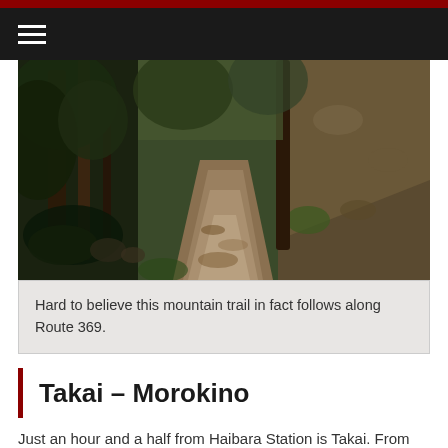[Figure (photo): A forested mountain trail with leaf-covered dirt path winding between dense trees and a steep hillside embankment, shot in muted earthy tones.]
Hard to believe this mountain trail in fact follows along Route 369.
Takai – Morokino
Just an hour and a half from Haibara Station is Takai. From here, the Ise Honkaido pulls away from National Route 369 and goes